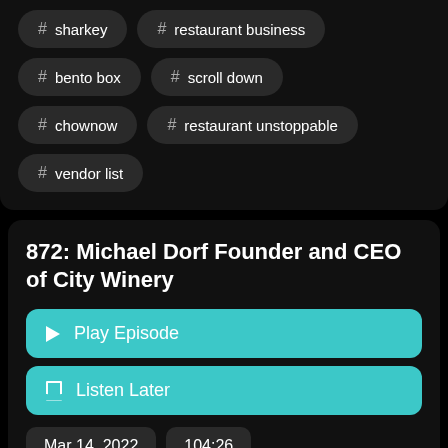# sharkey
# restaurant business
# bento box
# scroll down
# chownow
# restaurant unstoppable
# vendor list
872: Michael Dorf Founder and CEO of City Winery
Play Episode
Listen Later
Mar 14, 2022
104:26
Michael Dorf was born and raised in Milwaukee, WI.